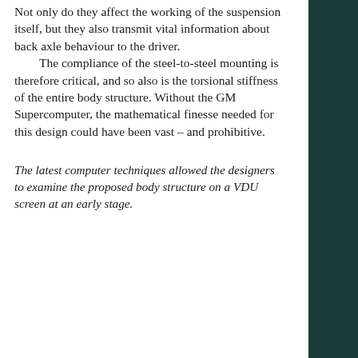Not only do they affect the working of the suspension itself, but they also transmit vital information about back axle behaviour to the driver. The compliance of the steel-to-steel mounting is therefore critical, and so also is the torsional stiffness of the entire body structure. Without the GM Supercomputer, the mathematical finesse needed for this design could have been vast – and prohibitive.
The latest computer techniques allowed the designers to examine the proposed body structure on a VDU screen at an early stage.